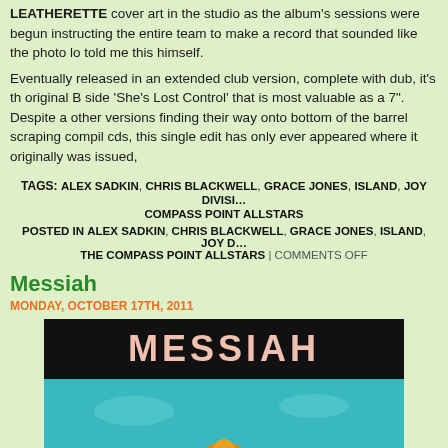LEATHERETTE cover art in the studio as the album's sessions were begun instructing the entire team to make a record that sounded like the photo lo told me this himself.
Eventually released in an extended club version, complete with dub, it's th original B side 'She's Lost Control' that is most valuable as a 7". Despite a other versions finding their way onto bottom of the barrel scraping compil cds, this single edit has only ever appeared where it originally was issued,
TAGS: ALEX SADKIN, CHRIS BLACKWELL, GRACE JONES, ISLAND, JOY DIVISI… COMPASS POINT ALLSTARS
POSTED IN ALEX SADKIN, CHRIS BLACKWELL, GRACE JONES, ISLAND, JOY D… THE COMPASS POINT ALLSTARS | COMMENTS OFF
Messiah
MONDAY, OCTOBER 17TH, 2011
[Figure (photo): Album cover for Messiah showing the title in peach/pink text on a black banner at the top, with a golden lotus flower rising from a teal/turquoise background below]